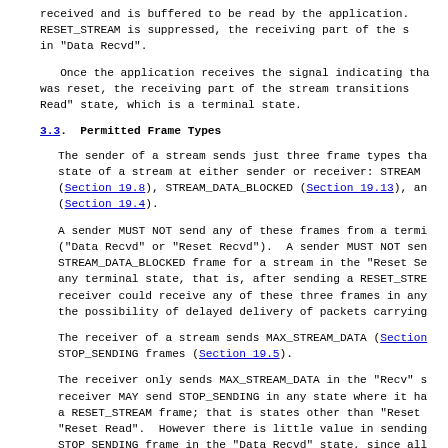received and is buffered to be read by the application. RESET_STREAM is suppressed, the receiving part of the s in "Data Recvd".
Once the application receives the signal indicating tha was reset, the receiving part of the stream transitions Read" state, which is a terminal state.
3.3. Permitted Frame Types
The sender of a stream sends just three frame types tha state of a stream at either sender or receiver: STREAM (Section 19.8), STREAM_DATA_BLOCKED (Section 19.13), an (Section 19.4).
A sender MUST NOT send any of these frames from a termi ("Data Recvd" or "Reset Recvd"). A sender MUST NOT sen STREAM_DATA_BLOCKED frame for a stream in the "Reset Se any terminal state, that is, after sending a RESET_STRE receiver could receive any of these three frames in any the possibility of delayed delivery of packets carrying
The receiver of a stream sends MAX_STREAM_DATA (Section STOP_SENDING frames (Section 19.5).
The receiver only sends MAX_STREAM_DATA in the "Recv" s receiver MAY send STOP_SENDING in any state where it ha a RESET_STREAM frame; that is states other than "Reset "Reset Read". However there is little value in sending STOP_SENDING frame in the "Data Recvd" state, since all